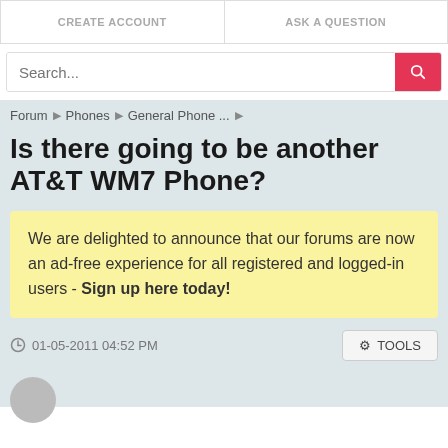CREATE ACCOUNT   ASK A QUESTION
Search...
Forum > Phones > General Phone ... >
Is there going to be another AT&T WM7 Phone?
We are delighted to announce that our forums are now an ad-free experience for all registered and logged-in users - Sign up here today!
01-05-2011 04:52 PM
TOOLS